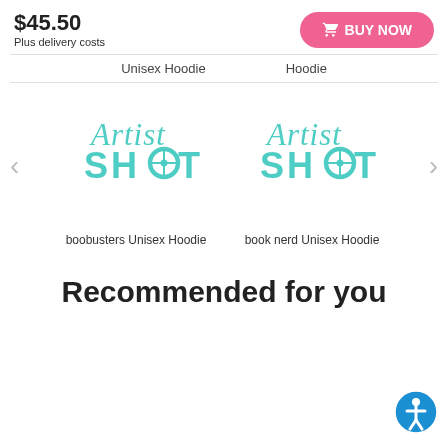$45.50
Plus delivery costs
BUY NOW
Unisex Hoodie   Hoodie
[Figure (logo): Artist Shot logo in teal/turquoise - script 'Artist' above bold 'SHOT' with crosshair icon]
[Figure (logo): Artist Shot logo in teal/turquoise - script 'Artist' above bold 'SHOT' with crosshair icon]
boobusters Unisex Hoodie
book nerd Unisex Hoodie
Recommended for you